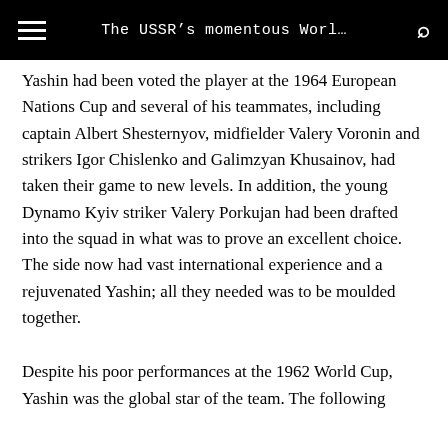The USSR's momentous Worl…
Yashin had been voted the player at the 1964 European Nations Cup and several of his teammates, including captain Albert Shesternyov, midfielder Valery Voronin and strikers Igor Chislenko and Galimzyan Khusainov, had taken their game to new levels. In addition, the young Dynamo Kyiv striker Valery Porkujan had been drafted into the squad in what was to prove an excellent choice. The side now had vast international experience and a rejuvenated Yashin; all they needed was to be moulded together.
Despite his poor performances at the 1962 World Cup, Yashin was the global star of the team. The following